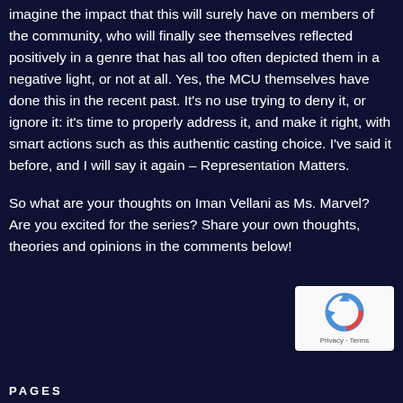imagine the impact that this will surely have on members of the community, who will finally see themselves reflected positively in a genre that has all too often depicted them in a negative light, or not at all. Yes, the MCU themselves have done this in the recent past. It's no use trying to deny it, or ignore it: it's time to properly address it, and make it right, with smart actions such as this authentic casting choice. I've said it before, and I will say it again – Representation Matters.
So what are your thoughts on Iman Vellani as Ms. Marvel? Are you excited for the series? Share your own thoughts, theories and opinions in the comments below!
[Figure (other): reCAPTCHA logo widget with Privacy and Terms links]
PAGES